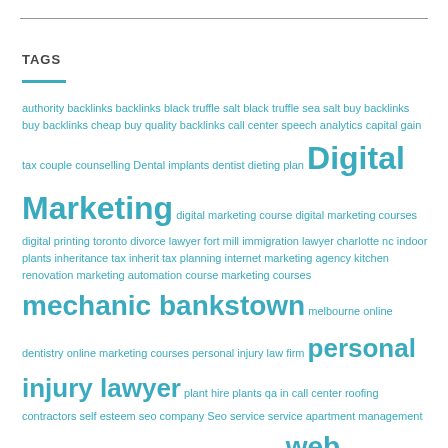TAGS
authority backlinks backlinks black truffle salt black truffle sea salt buy backlinks buy backlinks cheap buy quality backlinks call center speech analytics capital gain tax couple counselling Dental implants dentist dieting plan Digital Marketing digital marketing course digital marketing courses digital printing toronto divorce lawyer fort mill immigration lawyer charlotte nc indoor plants inheritance tax inherit tax planning internet marketing agency kitchen renovation marketing automation course marketing courses mechanic bankstown melbourne online dentistry online marketing courses personal injury law firm personal injury lawyer plant hire plants qa in call center roofing contractors self esteem seo company Seo service service apartment management storefront signs mississauga truffle salt truffle sea salt web design website design